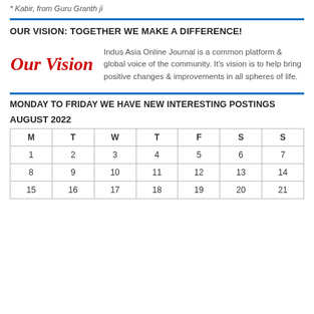* Kabir, from Guru Granth ji
OUR VISION: TOGETHER WE MAKE A DIFFERENCE!
[Figure (illustration): Our Vision logo in red italic script]
Indus Asia Online Journal is a common platform & global voice of the community. It's vision is to help bring positive changes & improvements in all spheres of life.
MONDAY TO FRIDAY WE HAVE NEW INTERESTING POSTINGS
AUGUST 2022
| M | T | W | T | F | S | S |
| --- | --- | --- | --- | --- | --- | --- |
| 1 | 2 | 3 | 4 | 5 | 6 | 7 |
| 8 | 9 | 10 | 11 | 12 | 13 | 14 |
| 15 | 16 | 17 | 18 | 19 | 20 | 21 |